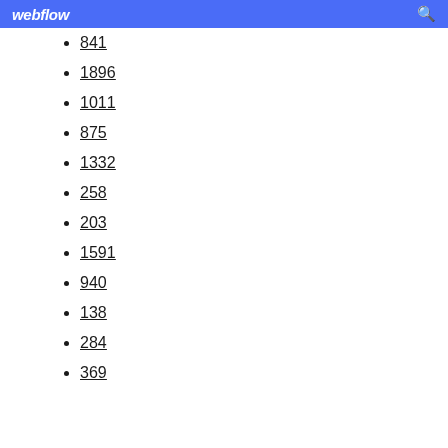webflow
841
1896
1011
875
1332
258
203
1591
940
138
284
369